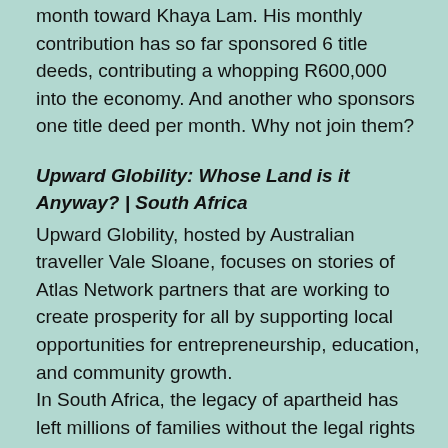month toward Khaya Lam. His monthly contribution has so far sponsored 6 title deeds, contributing a whopping R600,000 into the economy. And another who sponsors one title deed per month. Why not join them?
Upward Globility: Whose Land is it Anyway? | South Africa
Upward Globility, hosted by Australian traveller Vale Sloane, focuses on stories of Atlas Network partners that are working to create prosperity for all by supporting local opportunities for entrepreneurship, education, and community growth.
In South Africa, the legacy of apartheid has left millions of families without the legal rights to the land they live on. In the first episode, Sloane travelled to South Africa to learn about the FMF's Khaya Lam Project.
“Protection of property is sacrosanct and at the core of individual liberty and freedom,” said Temba Nolutshungu. Khaya Lam, which means “my home” in the local Xhosa language, aspires to help more than 20 million South Africans make home ownership a reality by securing fully-tradable freehold title to the properties they